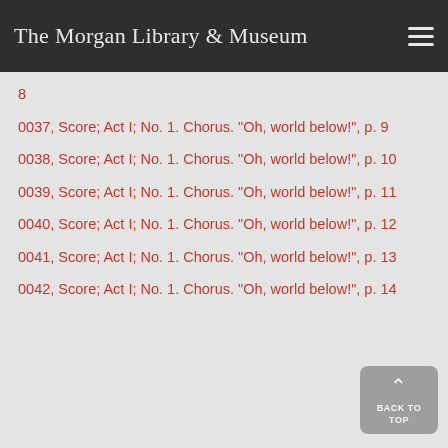The Morgan Library & Museum
8
0037, Score; Act I; No. 1. Chorus. "Oh, world below!", p. 9
0038, Score; Act I; No. 1. Chorus. "Oh, world below!", p. 10
0039, Score; Act I; No. 1. Chorus. "Oh, world below!", p. 11
0040, Score; Act I; No. 1. Chorus. "Oh, world below!", p. 12
0041, Score; Act I; No. 1. Chorus. "Oh, world below!", p. 13
0042, Score; Act I; No. 1. Chorus. "Oh, world below!", p. 14